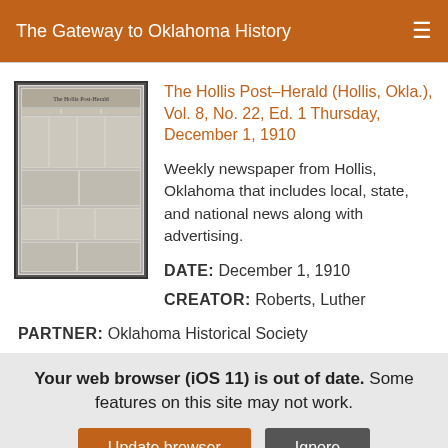The Gateway to Oklahoma History
[Figure (screenshot): Thumbnail image of The Hollis Post-Herald newspaper front page, grayscale, showing dense columns of text and advertisements.]
The Hollis Post–Herald (Hollis, Okla.), Vol. 8, No. 22, Ed. 1 Thursday, December 1, 1910
Weekly newspaper from Hollis, Oklahoma that includes local, state, and national news along with advertising.
DATE: December 1, 1910
CREATOR: Roberts, Luther
PARTNER: Oklahoma Historical Society
Your web browser (iOS 11) is out of date. Some features on this site may not work.